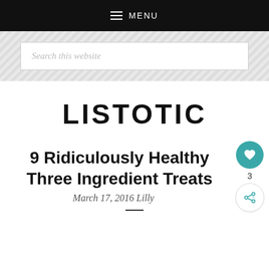≡ MENU
Search this website
LISTOTIC
9 Ridiculously Healthy Three Ingredient Treats
March 17, 2016 Lilly